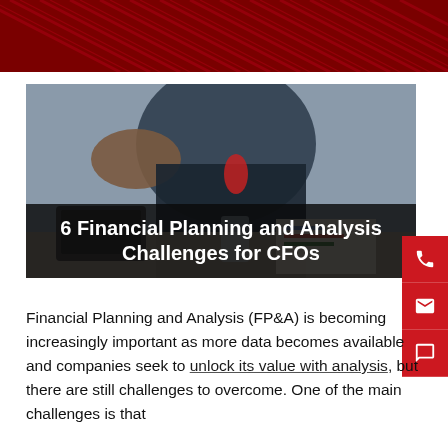[Figure (photo): Red diagonal striped banner at the top of the page]
[Figure (photo): Hero image showing a business professional in a suit gesturing with hand over a desk with laptop, charts and a glass of water. Text overlay reads: 6 Financial Planning and Analysis Challenges for CFOs]
6 Financial Planning and Analysis Challenges for CFOs
Financial Planning and Analysis (FP&A) is becoming increasingly important as more data becomes available and companies seek to unlock its value with analysis, but there are still challenges to overcome. One of the main challenges is that